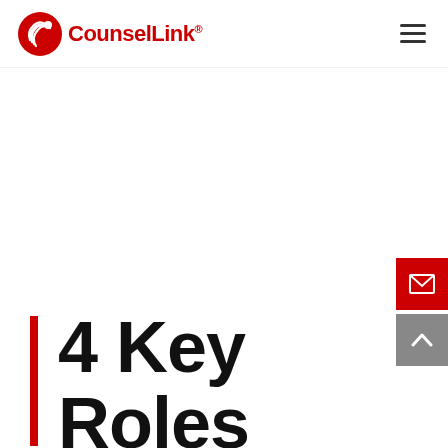CounselLink®
4 Key Roles for Paralegals